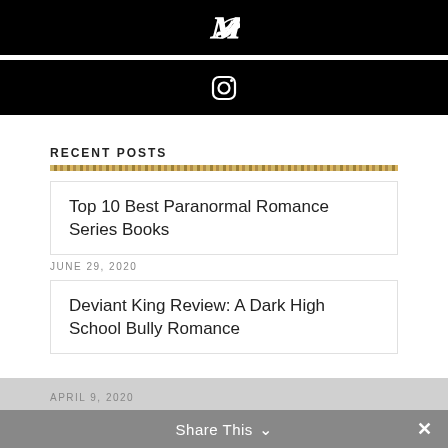[Figure (logo): Pinterest icon (stylized P) on black background bar]
[Figure (logo): Instagram camera icon on black background bar]
RECENT POSTS
Top 10 Best Paranormal Romance Series Books
JUNE 29, 2020
Deviant King Review: A Dark High School Bully Romance
APRIL 9, 2020
Share This ∨  ✕